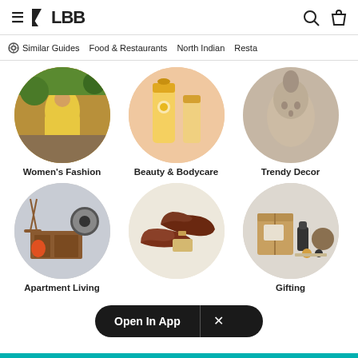LBB
Similar Guides   Food & Restaurants   North Indian   Resta
[Figure (photo): Circular thumbnail of a woman in yellow dress - Women's Fashion category]
Women's Fashion
[Figure (photo): Circular thumbnail of beauty/skincare products on peachy background - Beauty & Bodycare category]
Beauty & Bodycare
[Figure (photo): Circular thumbnail of a ceramic face vase on beige background - Trendy Decor category]
Trendy Decor
[Figure (photo): Circular thumbnail of living room furniture/decor - Apartment Living category]
Apartment Living
[Figure (photo): Circular thumbnail of brown leather loafer shoes - Men's Footwear category]
[Figure (photo): Circular thumbnail of gifting boxes and candles - Gifting category]
Gifting
Open In App  ×